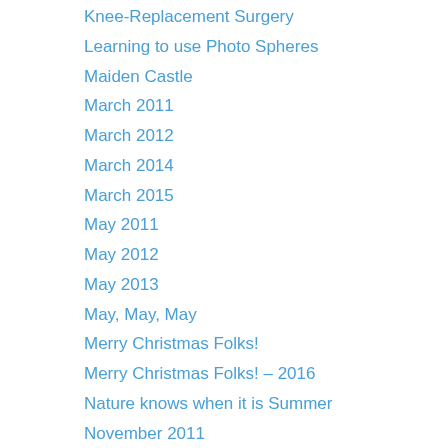Knee-Replacement Surgery
Learning to use Photo Spheres
Maiden Castle
March 2011
March 2012
March 2014
March 2015
May 2011
May 2012
May 2013
May, May, May
Merry Christmas Folks!
Merry Christmas Folks! – 2016
Nature knows when it is Summer
November 2011
November 2012
November 2013
November 2015
October 2012
Royal Naval Air Station (RNAS) Yeovilton